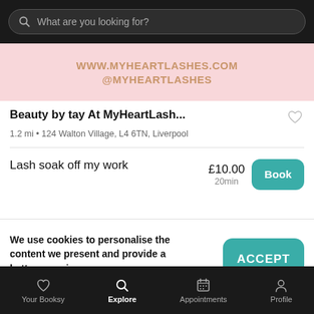What are you looking for?
[Figure (screenshot): Pink banner showing www.myheartlashes.com and @MYHEARTLASHES]
Beauty by tay At MyHeartLash...
1.2 mi • 124 Walton Village, L4 6TN, Liverpool
Lash soak off my work
£10.00
20min
We use cookies to personalise the content we present and provide a better experience.
By clicking "ACCEPT" you agree to the use of cookies. You can find more information about how we use cookies here.
Your Booksy   Explore   Appointments   Profile